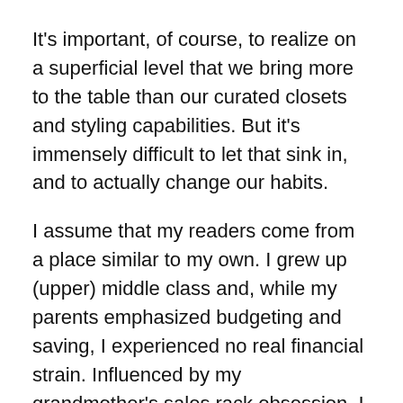It's important, of course, to realize on a superficial level that we bring more to the table than our curated closets and styling capabilities. But it's immensely difficult to let that sink in, and to actually change our habits.
I assume that my readers come from a place similar to my own. I grew up (upper) middle class and, while my parents emphasized budgeting and saving, I experienced no real financial strain. Influenced by my grandmother's sales rack obsession, I seemed to intuitively justify buying anything and everything as long as it was on sale. I liked the rush and the hunt of a good deal.
Later in college, just introduced to personal style blogs that emphasized the importance of investment and statement pieces, I replaced my sales-only paradigm with a boring, preppy basics-only framework. And then, when I